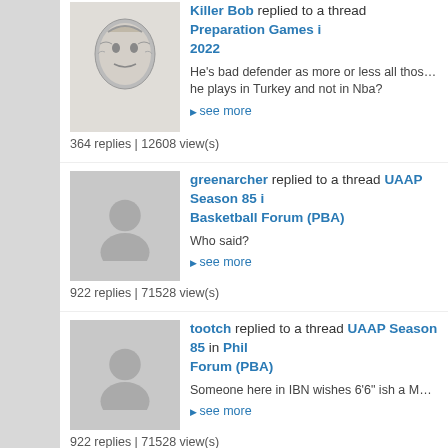Killer Bob replied to a thread Preparation Games 2022
He's bad defender as more or less all those undersize non ve... he plays in Turkey and not in Nba?
see more
364 replies | 12608 view(s)
greenarcher replied to a thread UAAP Season 85 in Basketball Forum (PBA)
Who said?
see more
922 replies | 71528 view(s)
tootch replied to a thread UAAP Season 85 in Philippines Basketball Forum (PBA)
Someone here in IBN wishes 6'6" ish a Marc pingris. now we...
see more
922 replies | 71528 view(s)
tootch replied to a thread Future Big Men Of Philippines in Philippines Basketball Forum (PBA)